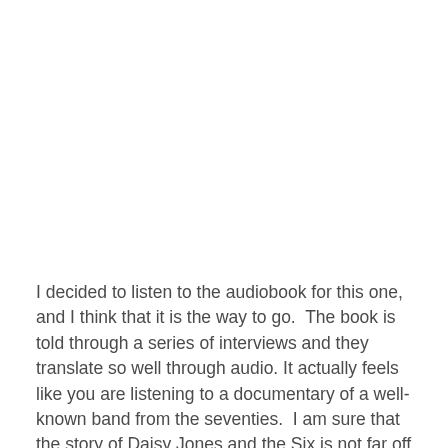I decided to listen to the audiobook for this one, and I think that it is the way to go.  The book is told through a series of interviews and they translate so well through audio. It actually feels like you are listening to a documentary of a well-known band from the seventies.  I am sure that the story of Daisy Jones and the Six is not far off from the story of many bands